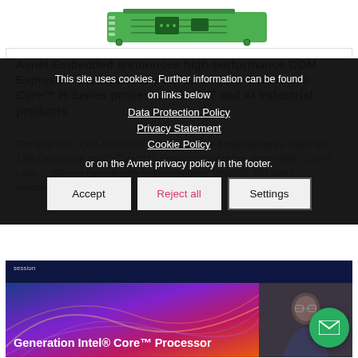[Figure (photo): Green PCB circuit board module, partial view at top of page]
Avnet Embedded announces high-performance COM Express™ module family based on 11th Gen. Intel® Core™ H-Series processors for IoT and AI industrial products
0 Comments / 03/08/202...
The new MSC C6B-TLH COM Express™ Type 6 module family bases on 11th Generation Intel® Core™ H-Series processors or older Intel® Core™ Lake..., offering considerably high computing, graphics and video performance.
This site uses cookies. Further information can be found on links below
Data Protection Policy
Privacy Statement
Cookie Policy
or on the Avnet privacy policy in the footer.
[Figure (screenshot): Promotional card: Generation Intel® Core™ Processor session banner with colorful fiber optic background and person image on right side, green email FAB button]